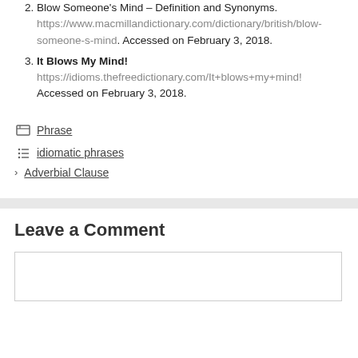2. Blow Someone's Mind – Definition and Synonyms. https://www.macmillandictionary.com/dictionary/british/blow-someone-s-mind. Accessed on February 3, 2018.
3. It Blows My Mind! https://idioms.thefreedictionary.com/It+blows+my+mind! Accessed on February 3, 2018.
Phrase
idiomatic phrases
Adverbial Clause
Leave a Comment